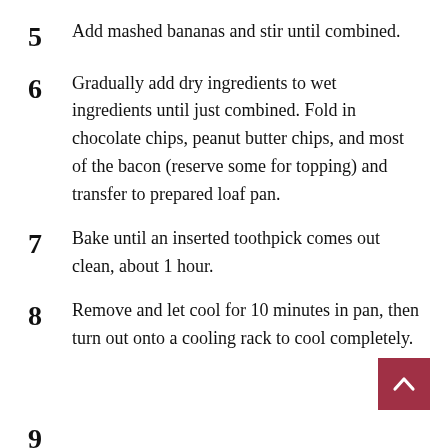5 Add mashed bananas and stir until combined.
6 Gradually add dry ingredients to wet ingredients until just combined. Fold in chocolate chips, peanut butter chips, and most of the bacon (reserve some for topping) and transfer to prepared loaf pan.
7 Bake until an inserted toothpick comes out clean, about 1 hour.
8 Remove and let cool for 10 minutes in pan, then turn out onto a cooling rack to cool completely.
9 [partial, cut off at bottom of page]